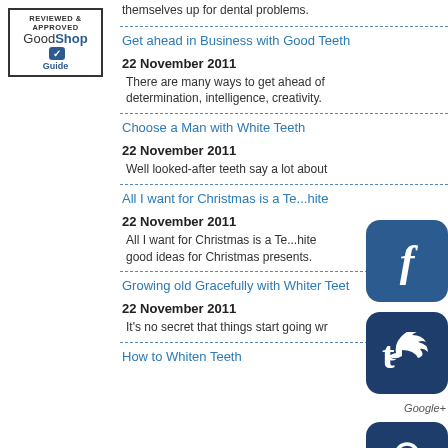[Figure (logo): Reviewed & Approved GoodShopGuide logo with checkmark]
themselves up for dental problems.
Get ahead in Business with Good Teeth
22 November 2011
There are many ways to get ahead of determination, intelligence, creativity.
Choose a Man with White Teeth
22 November 2011
Well looked-after teeth say a lot about
All I want for Christmas is a Te...White
22 November 2011
All I want for Christmas is a Te...White good ideas for Christmas presents.
Growing old Gracefully with Whiter Teeth
22 November 2011
It's no secret that things start going wr
How to Whiten Teeth
[Figure (logo): Facebook social icon - dark blue rounded square with f]
[Figure (logo): Twitter social icon - dark blue rounded square with t]
[Figure (logo): Google+ text link]
[Figure (logo): Pinterest social icon - dark blue rounded square with p]